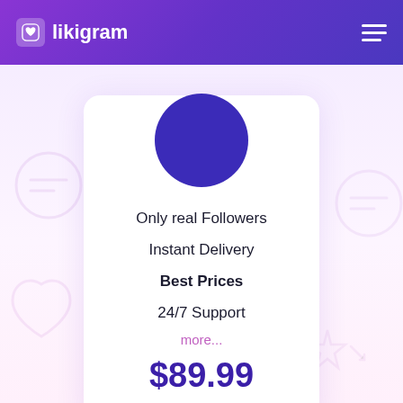likigram
Only real Followers
Instant Delivery
Best Prices
24/7 Support
more...
$89.99